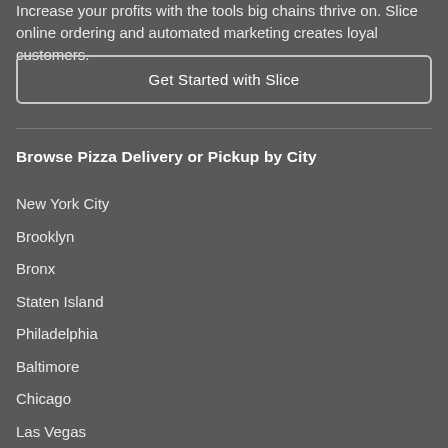Increase your profits with the tools big chains thrive on. Slice online ordering and automated marketing creates loyal customers.
Get Started with Slice
Browse Pizza Delivery or Pickup by City
New York City
Brooklyn
Bronx
Staten Island
Philadelphia
Baltimore
Chicago
Las Vegas
Nashville
Seattle